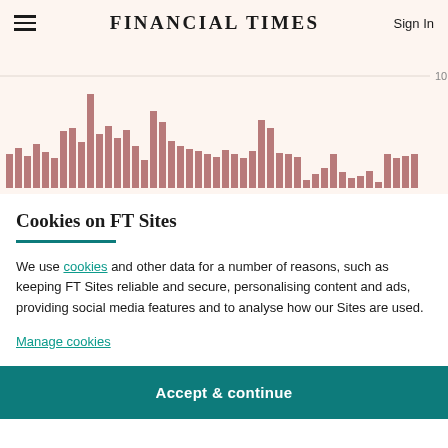FINANCIAL TIMES
[Figure (histogram): Partial bar chart visible behind cookie consent overlay, bars in muted rose/pink color on light beige background, y-axis shows value 10, bars of varying heights]
Cookies on FT Sites
We use cookies and other data for a number of reasons, such as keeping FT Sites reliable and secure, personalising content and ads, providing social media features and to analyse how our Sites are used.
Manage cookies